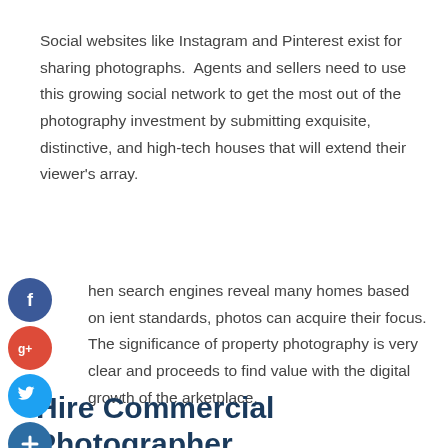Social websites like Instagram and Pinterest exist for sharing photographs.  Agents and sellers need to use this growing social network to get the most out of the photography investment by submitting exquisite, distinctive, and high-tech houses that will extend their viewer's array.
[Figure (illustration): Social media share icons: Facebook (blue circle with f), Google+ (red circle with g+), Twitter (blue circle with bird), and a dark blue add/plus circle button, arranged vertically on the left side of a paragraph of text.]
hen search engines reveal many homes based on ient standards, photos can acquire their focus. The significance of property photography is very clear and proceeds to find value with the digital growth of the arketplace.
Hire Commercial Photographer